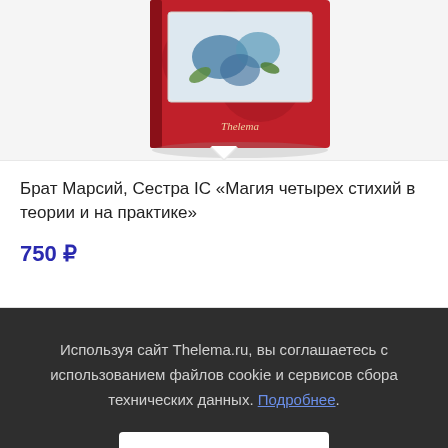[Figure (photo): Partial view of a red book cover with roses design, product image for 'Магия четырех стихий в теории и на практике']
Брат Марсий, Сестра IC «Магия четырех стихий в теории и на практике»
750 ₽
Используя сайт Thelema.ru, вы соглашаетесь с использованием файлов cookie и сервисов сбора технических данных. Подробнее.
Принять
[Figure (photo): Partial view of another book at the bottom of page showing a red cover with Russian text 'Равноденствие Закон — для всех']